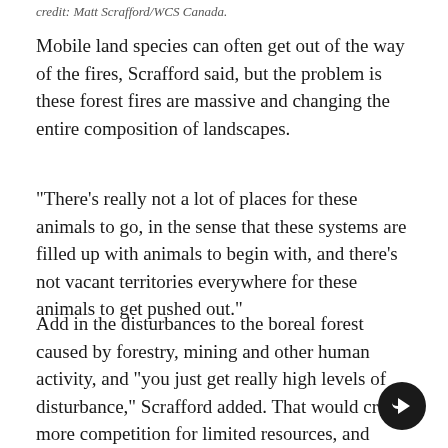credit: Matt Scrafford/WCS Canada.
Mobile land species can often get out of the way of the fires, Scrafford said, but the problem is these forest fires are massive and changing the entire composition of landscapes.
"There's really not a lot of places for these animals to go, in the sense that these systems are filled up with animals to begin with, and there's not vacant territories everywhere for these animals to get pushed out."
Add in the disturbances to the boreal forest caused by forestry, mining and other human activity, and "you just get really high levels of disturbance," Scrafford added. That would create more competition for limited resources, and some species will inevitably suffer as a result.